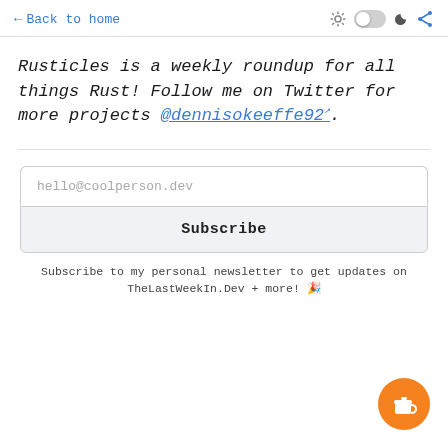← Back to home
Rusticles is a weekly roundup for all things Rust! Follow me on Twitter for more projects @dennisokeeffe92.
hello@coolperson.dev
Subscribe
Subscribe to my personal newsletter to get updates on TheLastWeekIn.Dev + more! 🎉